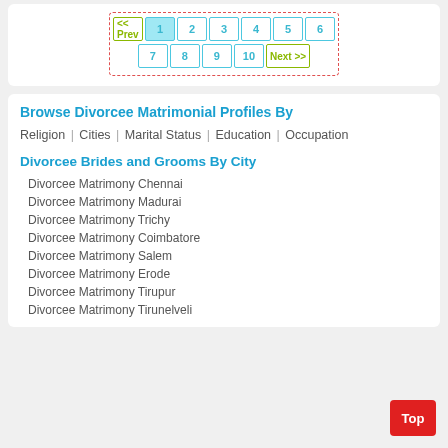[Figure (other): Pagination navigation with << Prev, pages 1-10, and Next >> buttons in teal/green style with red dashed border]
Browse Divorcee Matrimonial Profiles By
Religion | Cities | Marital Status | Education | Occupation
Divorcee Brides and Grooms By City
Divorcee Matrimony Chennai
Divorcee Matrimony Madurai
Divorcee Matrimony Trichy
Divorcee Matrimony Coimbatore
Divorcee Matrimony Salem
Divorcee Matrimony Erode
Divorcee Matrimony Tirupur
Divorcee Matrimony Tirunelveli